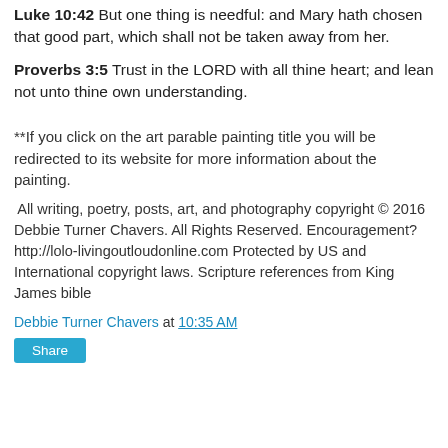Luke 10:42 But one thing is needful: and Mary hath chosen that good part, which shall not be taken away from her.
Proverbs 3:5 Trust in the LORD with all thine heart; and lean not unto thine own understanding.
**If you click on the art parable painting title you will be redirected to its website for more information about the painting.
All writing, poetry, posts, art, and photography copyright © 2016 Debbie Turner Chavers. All Rights Reserved. Encouragement? http://lolo-livingoutloudonline.com Protected by US and International copyright laws. Scripture references from King James bible
Debbie Turner Chavers at 10:35 AM
Share